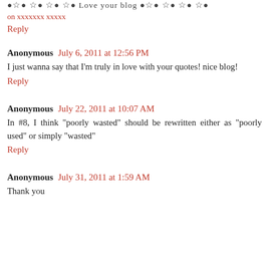●☆● ☆● ☆● ☆● Love your blog ●☆● ☆● ☆● ☆●
on xxxxxxx xxxxx
Reply
Anonymous July 6, 2011 at 12:56 PM
I just wanna say that I'm truly in love with your quotes! nice blog!
Reply
Anonymous July 22, 2011 at 10:07 AM
In #8, I think "poorly wasted" should be rewritten either as "poorly used" or simply "wasted"
Reply
Anonymous July 31, 2011 at 1:59 AM
Thank you